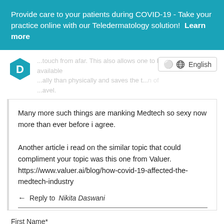Provide care to your patients during COVID-19 - Take your practice online with our Teledermatology solution!  Learn more
...touch from afar. This also allows one to be available ...ally than physically and saves the t...n of ...avel.
English
Many more such things are manking Medtech so sexy now more than ever before i agree.

Another article i read on the similar topic that could compliment your topic was this one from Valuer. https://www.valuer.ai/blog/how-covid-19-affected-the-medtech-industry
Reply to Nikita Daswani
First Name*